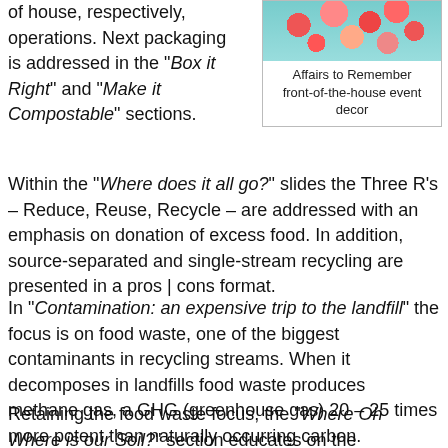of house, respectively, operations. Next packaging is addressed in the “Box it Right” and “Make it Compostable” sections.
[Figure (photo): Floral arrangement photo showing pink and red flowers on a light blue background, representing 'Affairs to Remember front-of-the-house event decor']
Affairs to Remember front-of-the-house event decor
Within the “Where does it all go?” slides the Three R’s – Reduce, Reuse, Recycle – are addressed with an emphasis on donation of excess food. In addition, source-separated and single-stream recycling are presented in a pros | cons format.
In “Contamination: an expensive trip to the landfill” the focus is on food waste, one of the biggest contaminants in recycling streams. When it decomposes in landfills food waste produces methane gas, a GHG (greenhouse gas) 20 – 25 times more potent than naturally occurring carbon.
Retaining the food waste focus, the “Where Oh Where is our Soil?” section educates on the deteriorated state of our soils and how food waste composting is a solution for soil rebuilding. “Beyond Landfill Destination” details the four main destinations for food waste, other than landfill.